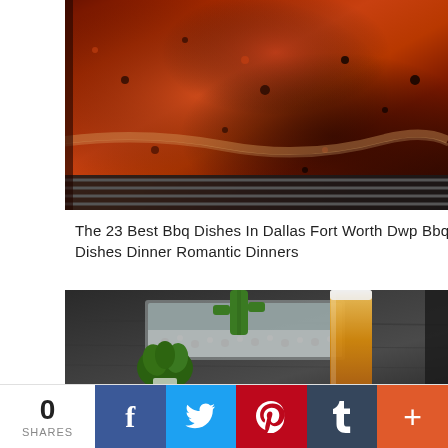[Figure (photo): Close-up photo of BBQ ribs with spice rub on a grill, showing a dark caramelized crust on seasoned meat]
The 23 Best Bbq Dishes In Dallas Fort Worth Dwp Bbq Dishes Dinner Romantic Dinners
[Figure (photo): Photo of a tall glass of beer next to a cactus and succulent arrangement on a dark table]
0 SHARES
f
Twitter icon
Pinterest icon
Tumblr icon
+